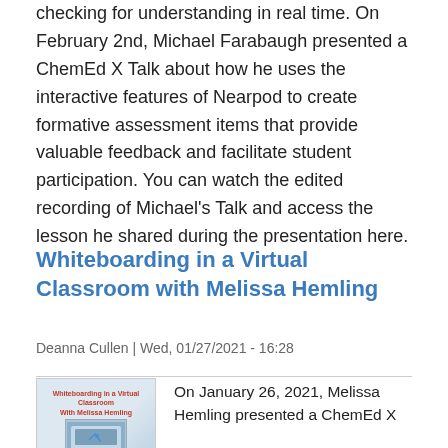checking for understanding in real time. On February 2nd, Michael Farabaugh presented a ChemEd X Talk about how he uses the interactive features of Nearpod to create formative assessment items that provide valuable feedback and facilitate student participation. You can watch the edited recording of Michael's Talk and access the lesson he shared during the presentation here.
Whiteboarding in a Virtual Classroom with Melissa Hemling
Deanna Cullen | Wed, 01/27/2021 - 16:28
[Figure (photo): Thumbnail image for 'Whiteboarding in a Virtual Classroom With Melissa Hemling' showing title text in red and a photo of a laptop/screen setup]
On January 26, 2021, Melissa Hemling presented a ChemEd X